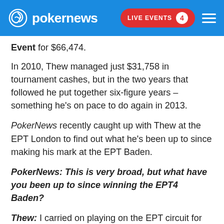pokernews | LIVE EVENTS 4
Event for $66,474.
In 2010, Thew managed just $31,758 in tournament cashes, but in the two years that followed he put together six-figure years – something he's on pace to do again in 2013.
PokerNews recently caught up with Thew at the EPT London to find out what he's been up to since making his mark at the EPT Baden.
PokerNews: This is very broad, but what have you been up to since winning the EPT4 Baden?
Thew: I carried on playing on the EPT circuit for another three, maybe four years. I had a really good year the year after, and then kind of struggled a bit. My confidence took a dip, kind of fell out of love with the game. It was all too stressful. I took a break, and I suppose about two years ago I kind of got my